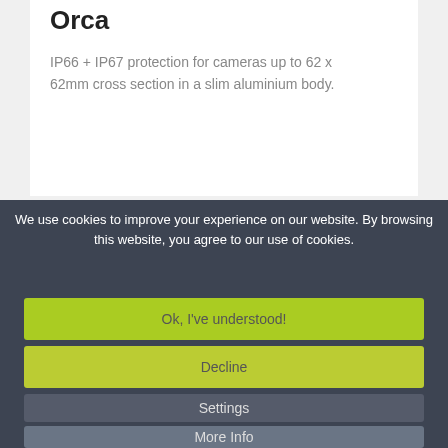Orca
IP66 + IP67 protection for cameras up to 62 x 62mm cross section in a slim aluminium body.
We use cookies to improve your experience on our website. By browsing this website, you agree to our use of cookies.
Ok, I've understood!
Decline
Settings
More Info